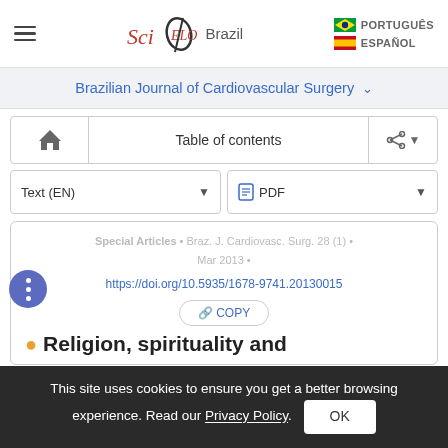SciELO Brazil — PORTUGUÊS / ESPAÑOL
Brazilian Journal of Cardiovascular Surgery
Table of contents
Text (EN)  PDF
Special Articles • Braz. J. Cardiovasc. Surg. 28 (1) • Mar 2013 •
https://doi.org/10.5935/1678-9741.20130015
COPY
Religion, spirituality and
This site uses cookies to ensure you get a better browsing experience. Read our Privacy Policy.  OK